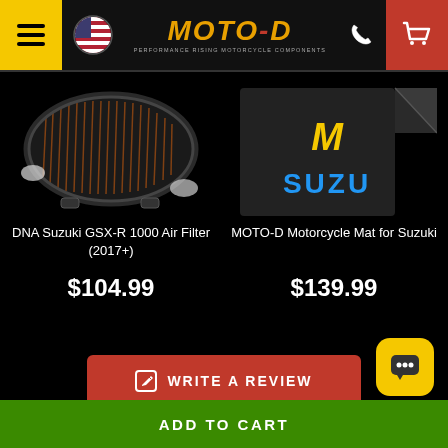MOTO-D Performance Rising Motorcycle Components
[Figure (photo): DNA Suzuki GSX-R 1000 air filter product photo on black background]
DNA Suzuki GSX-R 1000 Air Filter (2017+)
$104.99
[Figure (photo): MOTO-D Motorcycle Mat for Suzuki, black mat with yellow M logo and blue SUZU lettering]
MOTO-D Motorcycle Mat for Suzuki
$139.99
WRITE A REVIEW
ADD TO CART